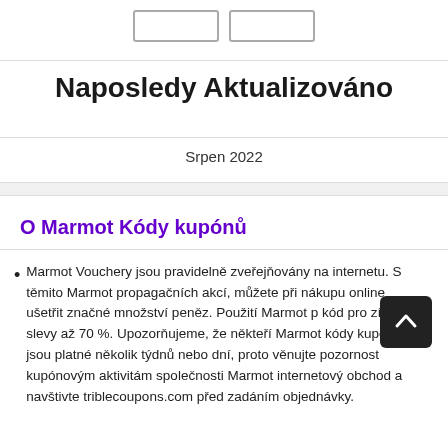[Figure (other): Two placeholder button outlines at top]
Naposledy Aktualizováno
Srpen 2022
O Marmot Kódy kupónů
Marmot Vouchery jsou pravidelně zveřejňovány na internetu. S těmito Marmot propagačních akcí, můžete při nákupu online ušetřit značné množství peněz. Použití Marmot p kód pro získání slevy až 70 %. Upozorňujeme, že někteří Marmot kódy kupónů jsou platné několik týdnů nebo dní, proto věnujte pozornost kupónovým aktivitám společnosti Marmot internetový obchod a navštivte triblecoupons.com před zadáním objednávky.